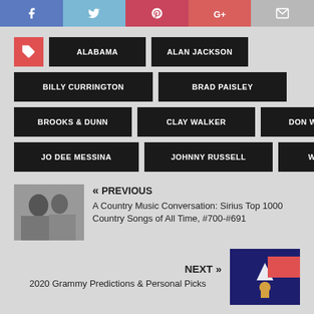[Figure (other): Social sharing buttons: Facebook, Twitter, Pinterest, Google+, Email]
ALABAMA
ALAN JACKSON
BILLY CURRINGTON
BRAD PAISLEY
BROOKS & DUNN
CLAY WALKER
DON WILLIAMS
JO DEE MESSINA
JOHNNY RUSSELL
WILLIE NELSON
« PREVIOUS
A Country Music Conversation: Sirius Top 1000 Country Songs of All Time, #700-#691
NEXT »
2020 Grammy Predictions & Personal Picks